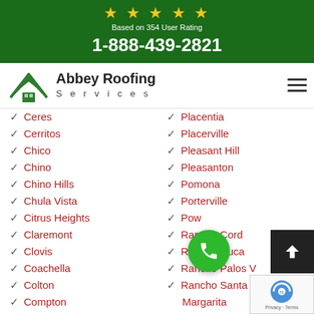★★★★★ Based on 354 User Rating 1-888-439-2821
[Figure (logo): Abbey Roofing Services logo with green roof/house icon]
✓ Ceres
✓ Placentia
✓ Cerritos
✓ Placerville
✓ Chico
✓ Pleasant Hill
✓ Chino
✓ Pleasanton
✓ Chino Hills
✓ Pomona
✓ Chula Vista
✓ Porterville
✓ Citrus Heights
✓ Poway
✓ Claremont
✓ Rancho Cordova
✓ Clovis
✓ Rancho Cucamonga
✓ Coachella
✓ Rancho Palos Verdes
✓ Colton
✓ Rancho Santa Margarita
✓ Compton